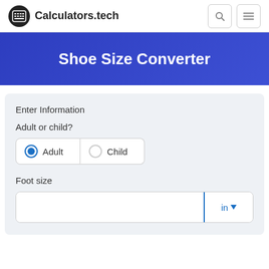Calculators.tech
Shoe Size Converter
Enter Information
Adult or child?
Adult (selected)
Child
Foot size
in (unit selector dropdown)